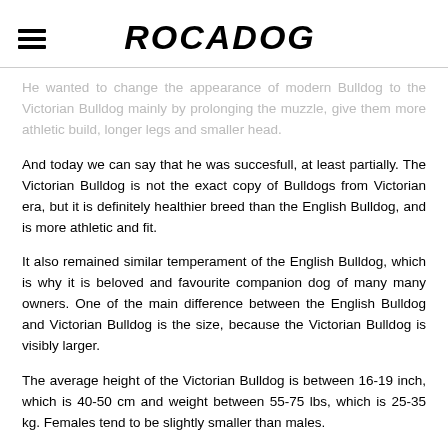ROCADOG
He wanted to change the appearance of modern Bulldog to the Victorian Bulldog mainly by prolonging the muzzle, give them more athletic build, longer legs and smaller head.
And today we can say that he was succesfull, at least partially. The Victorian Bulldog is not the exact copy of Bulldogs from Victorian era, but it is definitely healthier breed than the English Bulldog, and is more athletic and fit.
It also remained similar temperament of the English Bulldog, which is why it is beloved and favourite companion dog of many many owners. One of the main difference between the English Bulldog and Victorian Bulldog is the size, because the Victorian Bulldog is visibly larger.
The average height of the Victorian Bulldog is between 16-19 inch, which is 40-50 cm and weight between 55-75 lbs, which is 25-35 kg. Females tend to be slightly smaller than males.
Victorian Bulldogs typicaly also do not have that deep wrinkles, which are